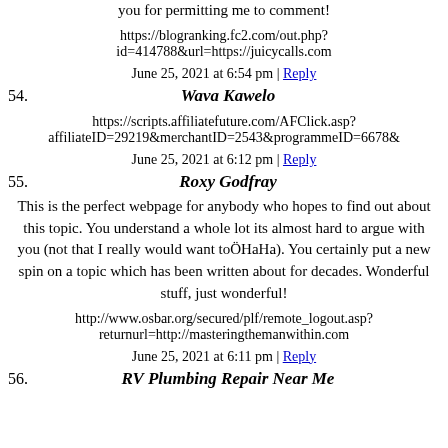you for permitting me to comment!
https://blogranking.fc2.com/out.php?id=414788&url=https://juicycalls.com
June 25, 2021 at 6:54 pm | Reply
54. Wava Kawelo
https://scripts.affiliatefuture.com/AFClick.asp?affiliateID=29219&merchantID=2543&programmeID=6678&
June 25, 2021 at 6:12 pm | Reply
55. Roxy Godfray
This is the perfect webpage for anybody who hopes to find out about this topic. You understand a whole lot its almost hard to argue with you (not that I really would want toÖHaHa). You certainly put a new spin on a topic which has been written about for decades. Wonderful stuff, just wonderful!
http://www.osbar.org/secured/plf/remote_logout.asp?returnurl=http://masteringthemanwithin.com
June 25, 2021 at 6:11 pm | Reply
56. RV Plumbing Repair Near Me